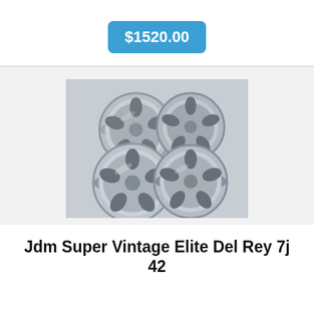$1520.00
[Figure (photo): Four chrome/polished aluminum JDM wheels arranged in a group on a gray surface]
Jdm Super Vintage Elite Del Rey 7j 42